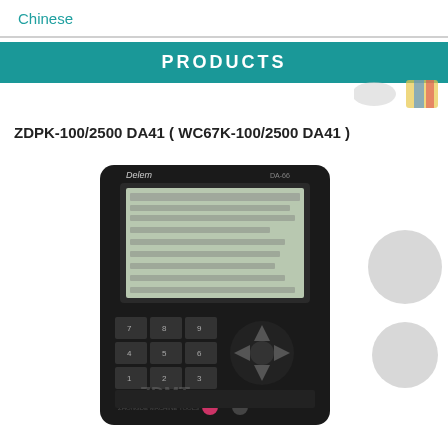Chinese
PRODUCTS
ZDPK-100/2500 DA41 ( WC67K-100/2500 DA41 )
[Figure (photo): Delem DA-66 CNC press brake controller unit with keypad and display screen, showing ZDMT (Zhongde Machine Tools) watermark]